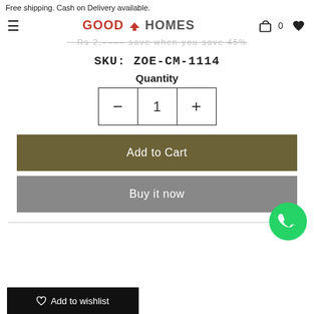Free shipping. Cash on Delivery available.
[Figure (logo): GoodHomes logo with hamburger menu, cart icon showing 0, and heart icon]
...text partially visible/struck through (price strip)
SKU: ZOE-CM-1114
Quantity
- 1 +
Add to Cart
Buy it now
[Figure (other): WhatsApp green circle button with phone icon]
Add to wishlist